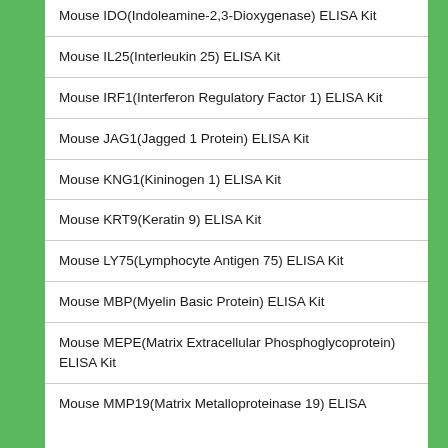Mouse IDO(Indoleamine-2,3-Dioxygenase) ELISA Kit
Mouse IL25(Interleukin 25) ELISA Kit
Mouse IRF1(Interferon Regulatory Factor 1) ELISA Kit
Mouse JAG1(Jagged 1 Protein) ELISA Kit
Mouse KNG1(Kininogen 1) ELISA Kit
Mouse KRT9(Keratin 9) ELISA Kit
Mouse LY75(Lymphocyte Antigen 75) ELISA Kit
Mouse MBP(Myelin Basic Protein) ELISA Kit
Mouse MEPE(Matrix Extracellular Phosphoglycoprotein) ELISA Kit
Mouse MMP19(Matrix Metalloproteinase 19) ELISA